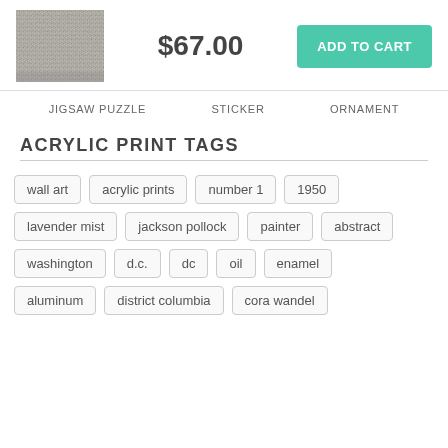[Figure (photo): Small thumbnail of an abstract painting, grey and white textured surface]
$67.00
ADD TO CART
JIGSAW PUZZLE   STICKER   ORNAMENT
ACRYLIC PRINT TAGS
wall art
acrylic prints
number 1
1950
lavender mist
jackson pollock
painter
abstract
washington
d.c.
dc
oil
enamel
aluminum
district columbia
cora wandel